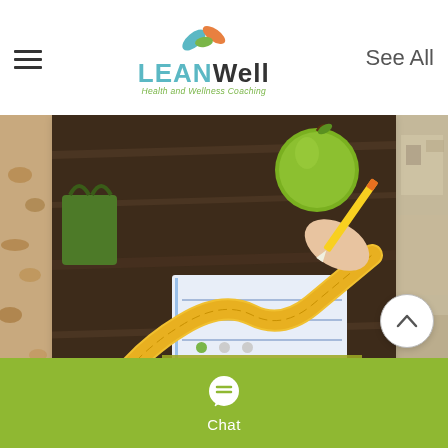[Figure (logo): LEANWell Health and Wellness Coaching logo with leaf/plant graphic]
See All
[Figure (photo): Hero photo of fitness/health theme: measuring tape, apple, notebook, pencil on wooden table. Overlay text reads 'How To Tell If Your Fitness Plan is Working']
How To Tell If Your Fitness Plan Is Working
55 views  0 comments  7 likes
[Figure (infographic): Pagination dots: 3 dots, first active (green)]
Chat